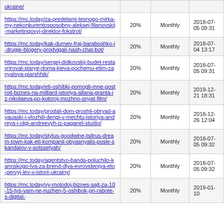| https://mc.today/ukraine/ | 20% | Monthly |  |
| https://mc.today/za-predelami-tesnogo-mirka-my-nekonkurentosposobny-aleksej-filanovskij-marketingovyj-direktor-fokstrot/ | 20% | Monthly | 2018-07-05 09:31 |
| https://mc.today/kak-durnev-fraj-baraboshko-i-drugie-blogery-prodvigali-nash-chat-bot/ | 20% | Monthly | 2018-07-04 13:17 |
| https://mc.today/sergej-didkovskij-budet-restavrirovat-starye-doma-kieva-pochemu-etim-zanyalsya-piarshhik/ | 20% | Monthly | 2018-07-05 09:31 |
| https://mc.today/eti-oshibki-pomogli-mne-postroit-biznes-na-milliard-istoriya-allana-granta-iz-nikolaeva-po-kotoroj-mozhno-snyat-film/ | 20% | Monthly | 2019-12-21 18:31 |
| https://mc.today/prodali-dom-proshli-obryad-ayauaski-i-vlozhili-dengi-v-mechtu-istoriya-andreya-i-olgi-andreevyh-iz-paganel-studio/ | 20% | Monthly | 2018-12-26 12:04 |
| https://mc.today/stylus-goodwine-tsitrus-dream-town-kak-eti-kompanii-obyasnyalis-posle-skandalov-v-sotssetyah/ | 20% | Monthly | 2018-07-05 09:32 |
| https://mc.today/agentstvo-banda-poluchilo-kannskogo-lva-za-brend-dlya-evrovideniya-eto-pervyj-lev-v-istorii-ukrainy/ | 20% | Monthly | 2018-07-05 09:32 |
| https://mc.today/vy-molodoj-biznes-sajt-za-10-15-tys-vam-ne-nuzhen-5-oshibok-pri-rabote-s-digital- | 20% | Monthly | 2019-01-10 |